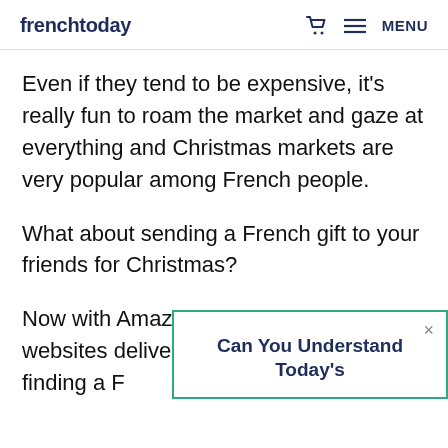frenchtoday  🛒  ≡ MENU
Even if they tend to be expensive, it's really fun to roam the market and gaze at everything and Christmas markets are very popular among French people.
What about sending a French gift to your friends for Christmas?
Now with Amazon.fr and many other websites delivering finding a F
Can You Understand Today's